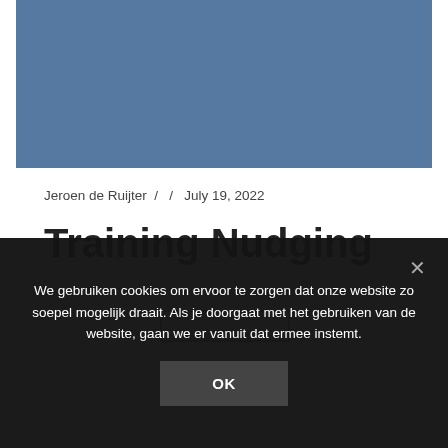[Figure (photo): Blue-grey rectangular placeholder image at the top of the page]
Jeroen de Ruijter /  /  July 19, 2022
Training Nudging
We gebruiken cookies om ervoor te zorgen dat onze website zo soepel mogelijk draait. Als je doorgaat met het gebruiken van de website, gaan we er vanuit dat ermee instemt.
OK